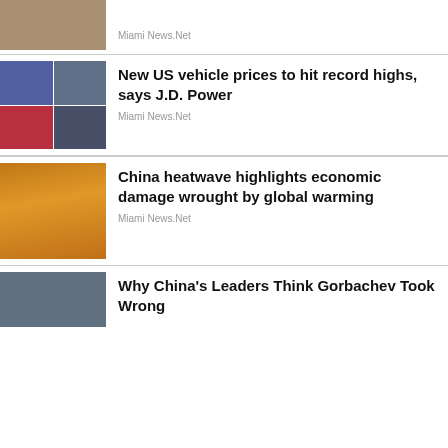[Figure (photo): Partial image of a building/satellite dish, top of page]
Miami News.Net
[Figure (photo): Four-panel collage of vehicles: blue BMW, dark SUV, red car, dark sedan]
New US vehicle prices to hit record highs, says J.D. Power
Miami News.Net
[Figure (photo): Wheat stalk silhouetted against a bright orange sun]
China heatwave highlights economic damage wrought by global warming
Miami News.Net
[Figure (photo): Person visible through car window, partial view]
Why China's Leaders Think Gorbachev Took Wrong